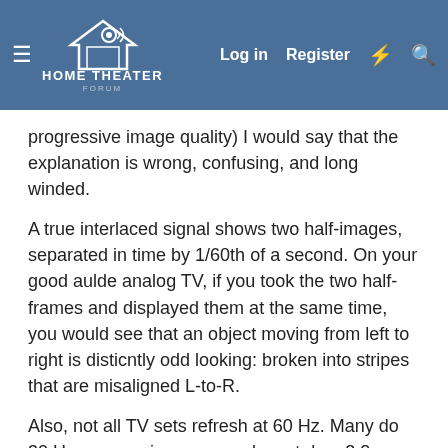HOME THEATER FORUM — Log in | Register
progressive image quality) I would say that the explanation is wrong, confusing, and long winded.
A true interlaced signal shows two half-images, separated in time by 1/60th of a second. On your good aulde analog TV, if you took the two half-frames and displayed them at the same time, you would see that an object moving from left to right is disticntly odd looking: broken into stripes that are misaligned L-to-R.
Also, not all TV sets refresh at 60 Hz. Many do 30 Hz progressive scan, and must do a 3:2 pulldown to display movies shot at 24 fps. A 60 Hz set can just display the same frame of film multiple times, but a 30 Hz set shows one frame 3 times, the next 2 times, etc. Or something like that.
The final answer is that you probably can't see the